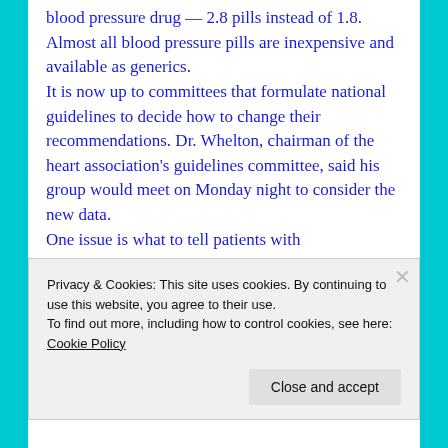blood pressure drug — 2.8 pills instead of 1.8. Almost all blood pressure pills are inexpensive and available as generics. It is now up to committees that formulate national guidelines to decide how to change their recommendations. Dr. Whelton, chairman of the heart association's guidelines committee, said his group would meet on Monday night to consider the new data. One issue is what to tell patients with
Privacy & Cookies: This site uses cookies. By continuing to use this website, you agree to their use.
To find out more, including how to control cookies, see here: Cookie Policy